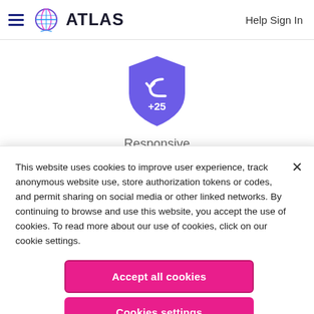ATLAS   Help Sign In
[Figure (illustration): Blue-purple shield badge with a back-arrow icon and '+25' text in white, indicating a 'Responsive' achievement badge]
Responsive
09-04-2014
This website uses cookies to improve user experience, track anonymous website use, store authorization tokens or codes, and permit sharing on social media or other linked networks. By continuing to browse and use this website, you accept the use of cookies. To read more about our use of cookies, click on our cookie settings.
Accept all cookies
Cookies settings